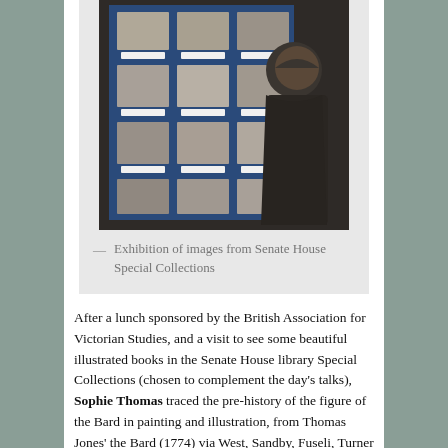[Figure (photo): A person viewing an exhibition of framed images mounted on a blue board/display panel. The images appear to be historical prints or photographs with white labels. The scene is dimly lit.]
— Exhibition of images from Senate House Special Collections
After a lunch sponsored by the British Association for Victorian Studies, and a visit to see some beautiful illustrated books in the Senate House library Special Collections (chosen to complement the day's talks), Sophie Thomas traced the pre-history of the figure of the Bard in painting and illustration, from Thomas Jones' the Bard (1774) via West, Sandby, Fuseli, Turner and Martin to the Bard in Blake's illustrations to Gray and his painting